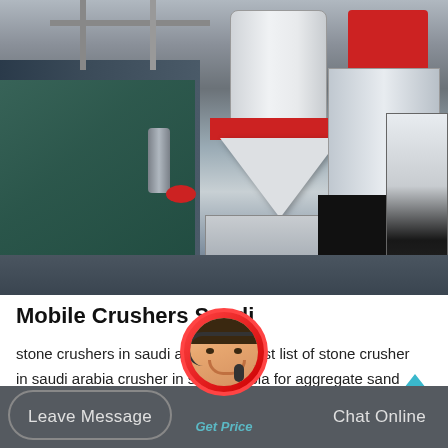[Figure (photo): Industrial cone crushers in a manufacturing facility, large white cone-shaped machines with red bands, sitting on metal frames, with teal fabric covers and black plastic wrapping visible in background]
Mobile Crushers Saudi
stone crushers in saudi arabia emaxlist list of stone crusher in saudi arabia crusher in saudi arabia for aggregate sand gravel plantcrusher for aggregate saudi arabia crusher in.